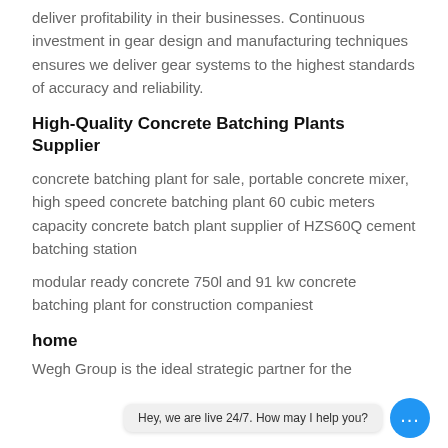deliver profitability in their businesses. Continuous investment in gear design and manufacturing techniques ensures we deliver gear systems to the highest standards of accuracy and reliability.
High-Quality Concrete Batching Plants Supplier
concrete batching plant for sale, portable concrete mixer, high speed concrete batching plant 60 cubic meters capacity concrete batch plant supplier of HZS60Q cement batching station
modular ready concrete 750l and 91 kw concrete batching plant for construction companiest
home
Wegh Group is the ideal strategic partner for the